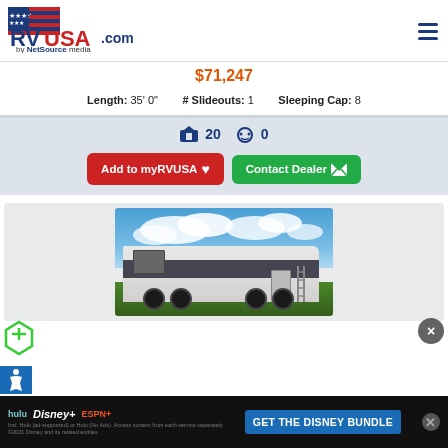RVUSA.com by NetSource media
$71,247
Length: 35' 0"   # Slideouts: 1   Sleeping Cap: 8
20  0
Add to myRVUSA ♥
Contact Dealer ✉
[Figure (photo): Photo of a travel trailer RV parked on grass with blue sky and clouds in background]
[Figure (other): Disney Bundle advertisement banner showing Hulu, Disney+, ESPN+ logos with GET THE DISNEY BUNDLE call to action]